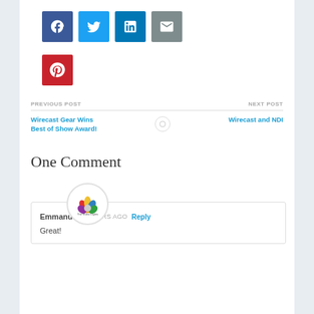[Figure (other): Social media share icons: Facebook (blue), Twitter (light blue), LinkedIn (blue), Email (gray), Pinterest (red)]
PREVIOUS POST | NEXT POST
Wirecast Gear Wins Best of Show Award! | Wirecast and NDI
One Comment
Emmanuel  5 YEARS AGO  Reply
Great!